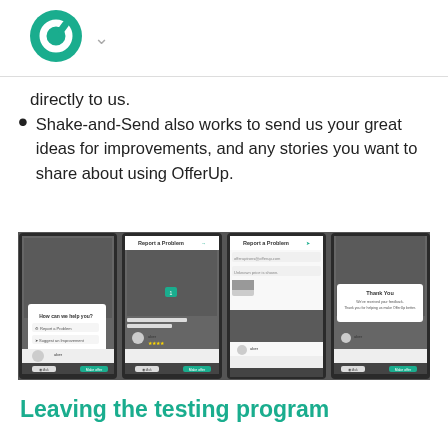[Figure (logo): OfferUp circular green logo with white cutout, followed by a downward chevron arrow]
directly to us.
Shake-and-Send also works to send us your great ideas for improvements, and any stories you want to share about using OfferUp.
[Figure (screenshot): Four mobile phone screenshots showing the OfferUp app Shake-and-Send / Report a Problem flow: 1) 'How can we help you?' menu with Report a Problem and Suggest an Improvement options, 2) Report a Problem form with photo of keyboard, 3) Report a Problem form with email and description fields, 4) Thank You confirmation screen saying 'We've received your feedback. Thank you for helping us make OfferUp better.']
Leaving the testing program